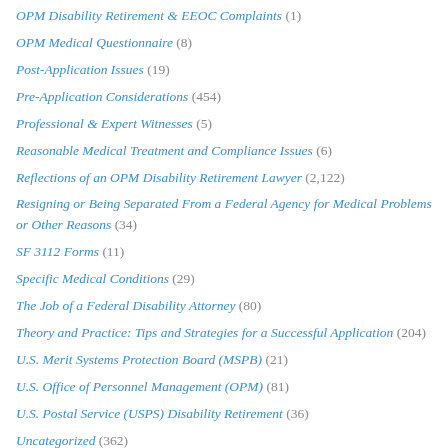OPM Disability Retirement & EEOC Complaints (1)
OPM Medical Questionnaire (8)
Post-Application Issues (19)
Pre-Application Considerations (454)
Professional & Expert Witnesses (5)
Reasonable Medical Treatment and Compliance Issues (6)
Reflections of an OPM Disability Retirement Lawyer (2,122)
Resigning or Being Separated From a Federal Agency for Medical Problems or Other Reasons (34)
SF 3112 Forms (11)
Specific Medical Conditions (29)
The Job of a Federal Disability Attorney (80)
Theory and Practice: Tips and Strategies for a Successful Application (204)
U.S. Merit Systems Protection Board (MSPB) (21)
U.S. Office of Personnel Management (OPM) (81)
U.S. Postal Service (USPS) Disability Retirement (36)
Uncategorized (362)
When the OPM Application Is Approved (14)
When the OPM Application Is Denied (95)